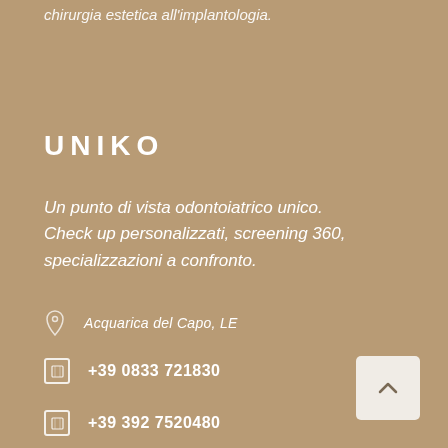chirurgia estetica all'implantologia.
UNIKO
Un punto di vista odontoiatrico unico.
Check up personalizzati, screening 360, specializzazioni a confronto.
Acquarica del Capo, LE
+39 0833 721830
+39 392 7520480